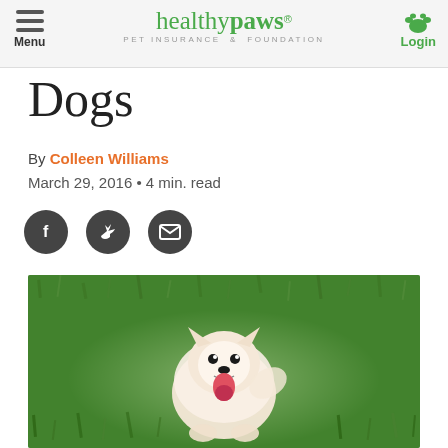Menu | healthy paws® PET INSURANCE & FOUNDATION | Login
Dogs
By Colleen Williams
March 29, 2016 • 4 min. read
[Figure (other): Social sharing icons: Facebook, Twitter, Email]
[Figure (photo): A fluffy white Pomeranian dog sitting on green grass, looking up with tongue out and happy expression]